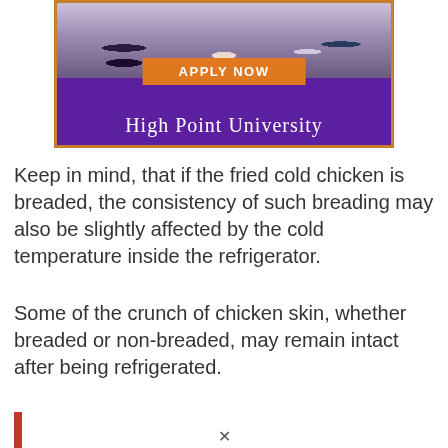[Figure (illustration): High Point University advertisement banner with purple background, orange border, photo of business people at a table, orange 'APPLY NOW' button, and white university name text]
Keep in mind, that if the fried cold chicken is breaded, the consistency of such breading may also be slightly affected by the cold temperature inside the refrigerator.
Some of the crunch of chicken skin, whether breaded or non-breaded, may remain intact after being refrigerated.
[Figure (other): Small vertical red/orange bar on left side]